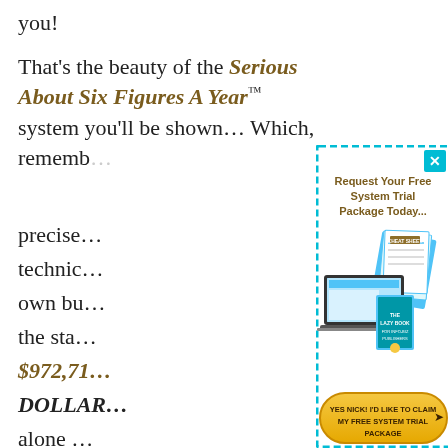you!
That's the beauty of the Serious About Six Figures A Year™ system you'll be shown… Which, rememb…
precise…
technic…
own bu…
the sta…
$972,71…
DOLLAR…
alone …
… and w…
guiding…
[Figure (infographic): Popup overlay with dashed cyan border showing 'Request Your Free System Trial Package Today...' with product images (laptop, cheat sheets, book) and a yellow CTA button 'YES NICK! I'D LIKE TO CLAIM MY FREE SYSTEM TRIAL PACKAGE'. An X close button in top-right corner.]